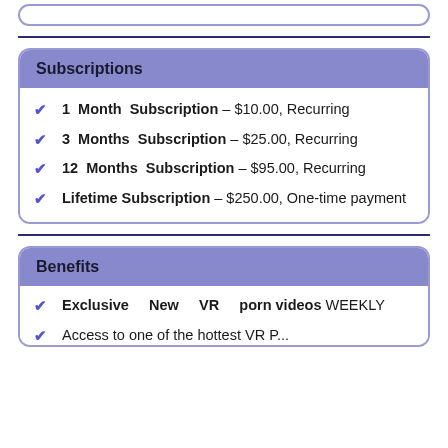Subscriptions
1 Month Subscription – $10.00, Recurring
3 Months Subscription – $25.00, Recurring
12 Months Subscription – $95.00, Recurring
Lifetime Subscription – $250.00, One-time payment
Benefits
Exclusive New VR porn videos WEEKLY
Access to one of the hottest VR P...